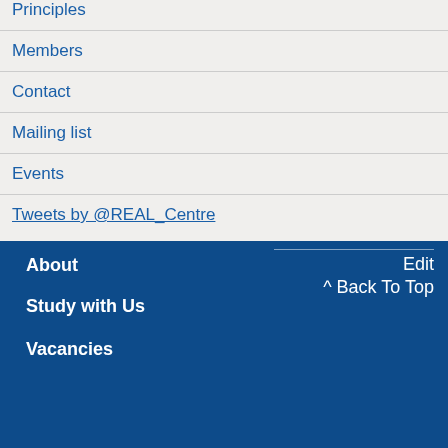Principles
Members
Contact
Mailing list
Events
Tweets by @REAL_Centre
About
Study with Us
Vacancies
Edit
^ Back To Top